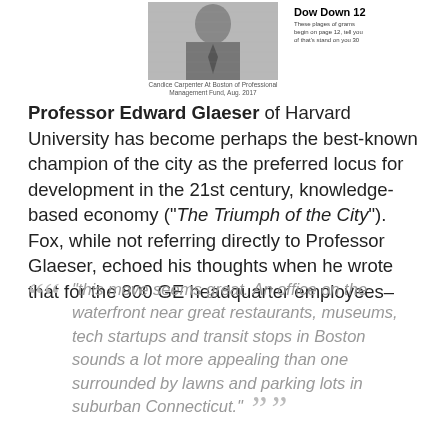[Figure (photo): Black and white newspaper photograph of a man in a suit, with a newspaper snippet to the right showing headline 'Dow Down 12' and small body text.]
Professor Edward Glaeser of Harvard University has become perhaps the best-known champion of the city as the preferred locus for development in the 21st century, knowledge-based economy ("The Triumph of the City"). Fox, while not referring directly to Professor Glaeser, echoed his thoughts when he wrote that for the 800 GE headquarter employees–
“this move seems great. An office on the waterfront near great restaurants, museums, tech startups and transit stops in Boston sounds a lot more appealing than one surrounded by lawns and parking lots in suburban Connecticut.”